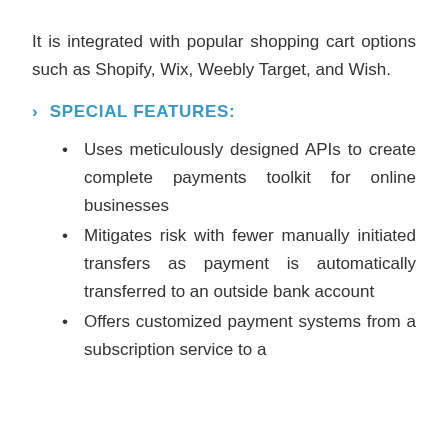It is integrated with popular shopping cart options such as Shopify, Wix, Weebly Target, and Wish.
› SPECIAL FEATURES:
Uses meticulously designed APIs to create complete payments toolkit for online businesses
Mitigates risk with fewer manually initiated transfers as payment is automatically transferred to an outside bank account
Offers customized payment systems from a subscription service to a